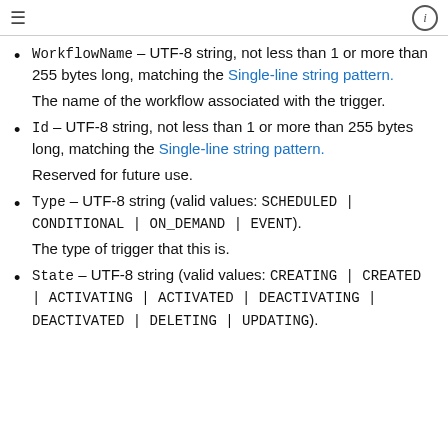≡  ⓘ
WorkflowName – UTF-8 string, not less than 1 or more than 255 bytes long, matching the Single-line string pattern. The name of the workflow associated with the trigger.
Id – UTF-8 string, not less than 1 or more than 255 bytes long, matching the Single-line string pattern. Reserved for future use.
Type – UTF-8 string (valid values: SCHEDULED | CONDITIONAL | ON_DEMAND | EVENT). The type of trigger that this is.
State – UTF-8 string (valid values: CREATING | CREATED | ACTIVATING | ACTIVATED | DEACTIVATING | DEACTIVATED | DELETING | UPDATING).